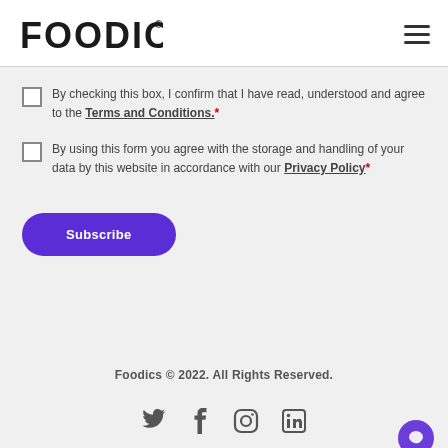FOODICS® [hamburger menu icon]
By checking this box, I confirm that I have read, understood and agree to the Terms and Conditions.*
By using this form you agree with the storage and handling of your data by this website in accordance with our Privacy Policy*
Subscribe
Foodics © 2022. All Rights Reserved.
[Figure (illustration): Social media icons: Twitter, Facebook, Instagram, LinkedIn, and a purple chat bubble icon]